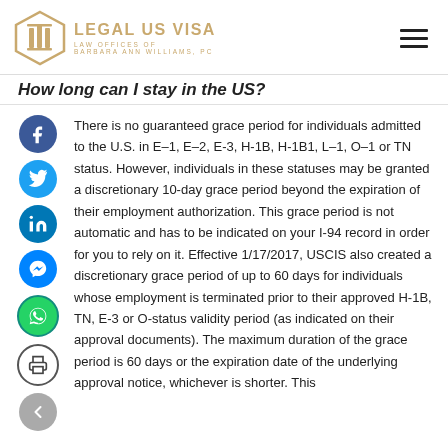LEGAL US VISA — LAW OFFICES OF BARBARA ANN WILLIAMS, PC
How long can I stay in the US?
There is no guaranteed grace period for individuals admitted to the U.S. in E–1, E–2, E-3, H-1B, H-1B1, L–1, O–1 or TN status. However, individuals in these statuses may be granted a discretionary 10-day grace period beyond the expiration of their employment authorization. This grace period is not automatic and has to be indicated on your I-94 record in order for you to rely on it. Effective 1/17/2017, USCIS also created a discretionary grace period of up to 60 days for individuals whose employment is terminated prior to their approved H-1B, TN, E-3 or O-status validity period (as indicated on their approval documents). The maximum duration of the grace period is 60 days or the expiration date of the underlying approval notice, whichever is shorter. This